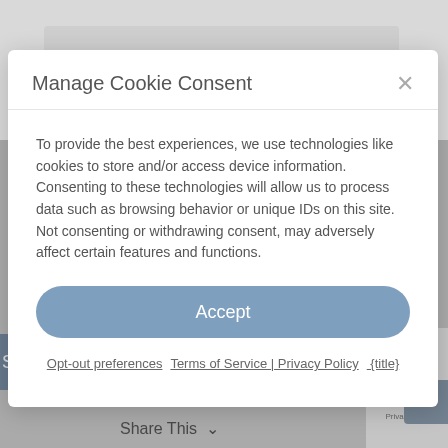Name *
Manage Cookie Consent
To provide the best experiences, we use technologies like cookies to store and/or access device information. Consenting to these technologies will allow us to process data such as browsing behavior or unique IDs on this site. Not consenting or withdrawing consent, may adversely affect certain features and functions.
Accept
Opt-out preferences   Terms of Service | Privacy Policy   {title}
Submit Comment
Share This